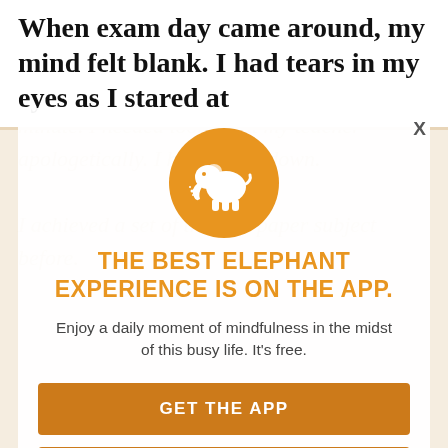When exam day came around, my mind felt blank. I had tears in my eyes as I stared at
[Figure (illustration): Orange circle with white elephant logo for the Elephant app]
THE BEST ELEPHANT EXPERIENCE IS ON THE APP.
Enjoy a daily moment of mindfulness in the midst of this busy life. It's free.
GET THE APP
OPEN IN APP